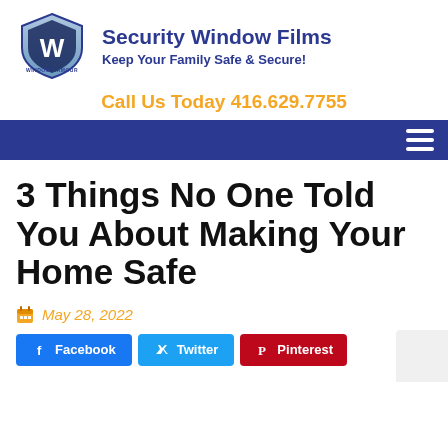[Figure (logo): Window Armour shield logo with letter W]
Security Window Films
Keep Your Family Safe & Secure!
Call Us Today 416.629.7755
[Figure (other): Blue navigation bar with hamburger menu icon]
3 Things No One Told You About Making Your Home Safe
May 28, 2022
Facebook   Twitter   Pinterest